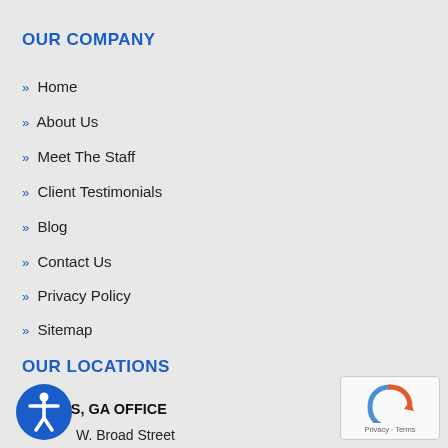OUR COMPANY
» Home
» About Us
» Meet The Staff
» Client Testimonials
» Blog
» Contact Us
» Privacy Policy
» Sitemap
OUR LOCATIONS
ATHENS, GA OFFICE
W. Broad Street
hs, GA 30606
[Figure (logo): Accessibility icon — blue circle with white person figure]
[Figure (logo): reCAPTCHA widget with Privacy and Terms links]